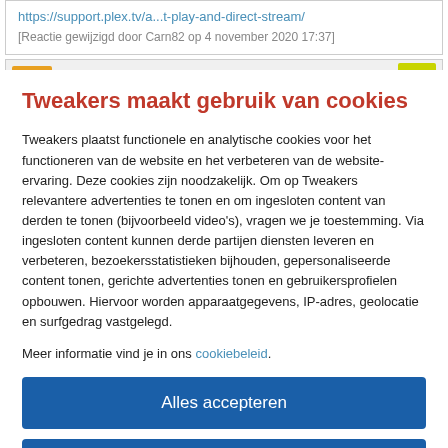https://support.plex.tv/a...t-play-and-direct-stream/
[Reactie gewijzigd door Carn82 op 4 november 2020 17:37]
Tweakers maakt gebruik van cookies
Tweakers plaatst functionele en analytische cookies voor het functioneren van de website en het verbeteren van de website-ervaring. Deze cookies zijn noodzakelijk. Om op Tweakers relevantere advertenties te tonen en om ingesloten content van derden te tonen (bijvoorbeeld video's), vragen we je toestemming. Via ingesloten content kunnen derde partijen diensten leveren en verbeteren, bezoekersstatistieken bijhouden, gepersonaliseerde content tonen, gerichte advertenties tonen en gebruikersprofielen opbouwen. Hiervoor worden apparaatgegevens, IP-adres, geolocatie en surfgedrag vastgelegd.
Meer informatie vind je in ons cookiebeleid.
Alles accepteren
Alleen noodzakelijk
Voorkeuren aanpassen